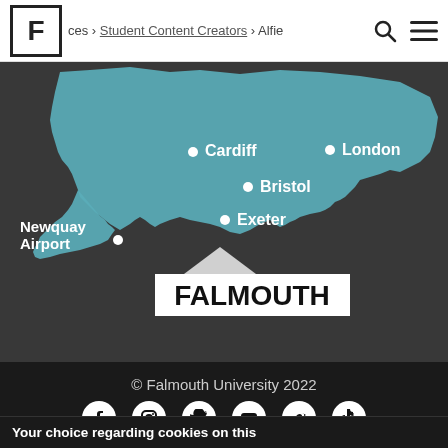ces > Student Content Creators > Alfie
[Figure (map): Map of south-west England and Wales showing locations: Cardiff, London, Bristol, Exeter, Newquay Airport, and Falmouth. Falmouth is highlighted at the tip of Cornwall.]
© Falmouth University 2022
Accessibility Statement  Cookie Policy  Copyright  Data Privacy
Your choice regarding cookies on this